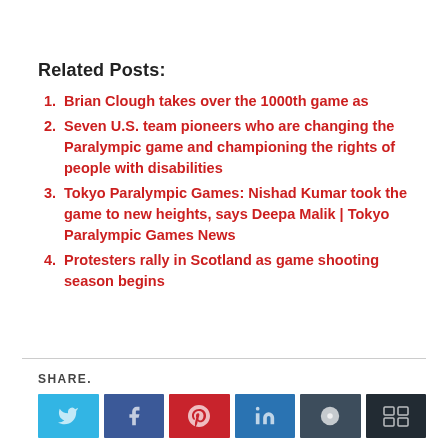Related Posts:
Brian Clough takes over the 1000th game as
Seven U.S. team pioneers who are changing the Paralympic game and championing the rights of people with disabilities
Tokyo Paralympic Games: Nishad Kumar took the game to new heights, says Deepa Malik | Tokyo Paralympic Games News
Protesters rally in Scotland as game shooting season begins
SHARE.